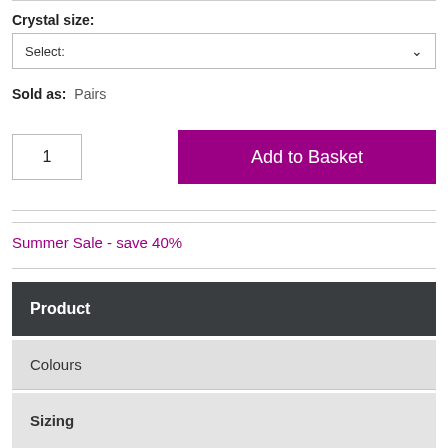Crystal size:
Select:
Sold as:  Pairs
1
Add to Basket
Summer Sale - save 40%
Product
Colours
Sizing